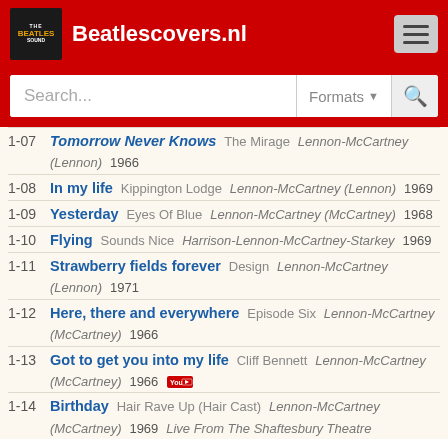Beatlescovers.nl
1-07 Tomorrow Never Knows The Mirage Lennon-McCartney (Lennon) 1966
1-08 In my life Kippington Lodge Lennon-McCartney (Lennon) 1969
1-09 Yesterday Eyes Of Blue Lennon-McCartney (McCartney) 1968
1-10 Flying Sounds Nice Harrison-Lennon-McCartney-Starkey 1969
1-11 Strawberry fields forever Design Lennon-McCartney (Lennon) 1971
1-12 Here, there and everywhere Episode Six Lennon-McCartney (McCartney) 1966
1-13 Got to get you into my life Cliff Bennett Lennon-McCartney (McCartney) 1966
1-14 Birthday Hair Rave Up (Hair Cast) Lennon-McCartney (McCartney) 1969 Live From The Shaftesbury Theatre